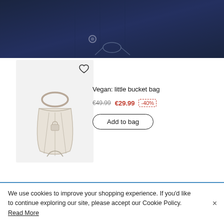[Figure (photo): Close-up of a navy blue fabric garment with drawstring detail and metal eyelet hardware, shown against a light gray background.]
[Figure (photo): Cream/off-white vegan leather small bucket bag with gold ring handle and drawstring closure, displayed on a light gray background. A heart/wishlist icon appears in the top right corner of the product card.]
Vegan: little bucket bag
€49.99  €29.99  -40%
Add to bag
We use cookies to improve your shopping experience. If you'd like to continue exploring our site, please accept our Cookie Policy. Read More